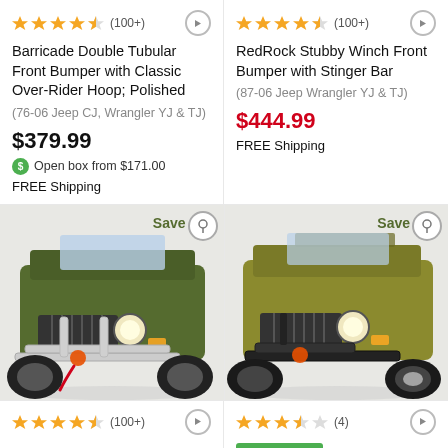★★★★½ (100+) | Barricade Double Tubular Front Bumper with Classic Over-Rider Hoop; Polished (76-06 Jeep CJ, Wrangler YJ & TJ) $379.99 | Open box from $171.00 | FREE Shipping
★★★★½ (100+) | RedRock Stubby Winch Front Bumper with Stinger Bar (87-06 Jeep Wrangler YJ & TJ) $444.99 | FREE Shipping
[Figure (photo): Green Jeep Wrangler with double tubular front bumper and winch, front view]
[Figure (photo): Yellow-green Jeep Wrangler with stubby winch front bumper and stinger bar, front 3/4 view]
★★★★½ (100+)
★★★★☆ (4)